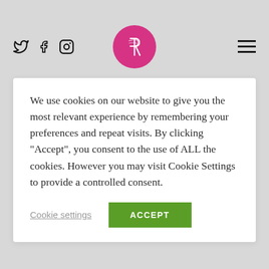[Figure (logo): Social media icons: Twitter bird, Facebook F, Instagram camera outline]
[Figure (logo): Round pink/magenta logo with stylized R letter made of curved lines]
[Figure (other): Hamburger menu icon with three horizontal lines]
We use cookies on our website to give you the most relevant experience by remembering your preferences and repeat visits. By clicking “Accept”, you consent to the use of ALL the cookies. However you may visit Cookie Settings to provide a controlled consent.
Cookie settings
ACCEPT